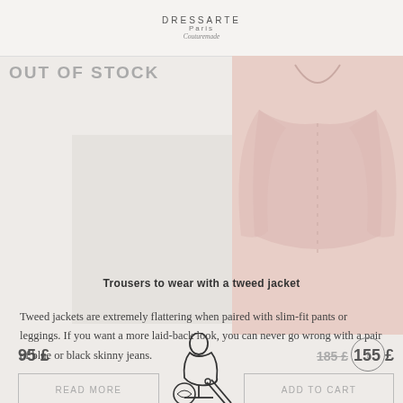[Figure (logo): DRESSARTE Paris Couturemade brand logo with thumbnail image on left]
OUT OF STOCK
[Figure (photo): Out of stock product image (left, greyed out garment)]
[Figure (photo): Pink long-sleeve fitted blouse product image (right)]
[Figure (illustration): Mannequin/dressmaker icon in center]
95 £
185 £  155 £
READ MORE
ADD TO CART
Trousers to wear with a tweed jacket
Tweed jackets are extremely flattering when paired with slim-fit pants or leggings. If you want a more laid-back look, you can never go wrong with a pair of blue or black skinny jeans.